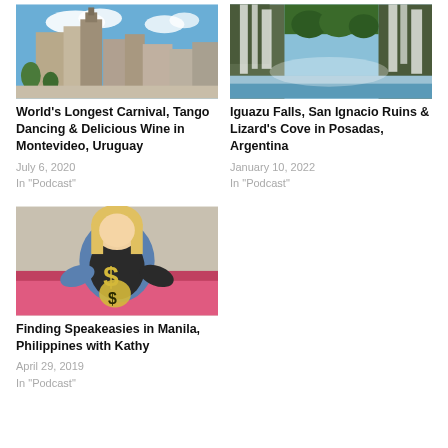[Figure (photo): Photo of city buildings and plaza with blue sky, Montevideo Uruguay]
World's Longest Carnival, Tango Dancing & Delicious Wine in Montevideo, Uruguay
July 6, 2020
In "Podcast"
[Figure (photo): Photo of Iguazu Falls waterfall with lush greenery]
Iguazu Falls, San Ignacio Ruins & Lizard's Cove in Posadas, Argentina
January 10, 2022
In "Podcast"
[Figure (photo): Photo of woman holding dollar sign prop, Finding Speakeasies Manila]
Finding Speakeasies in Manila, Philippines with Kathy
April 29, 2019
In "Podcast"